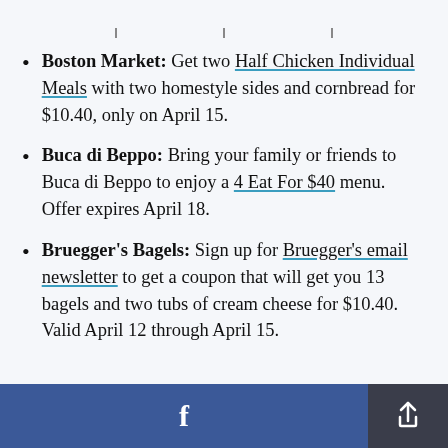Boston Market: Get two Half Chicken Individual Meals with two homestyle sides and cornbread for $10.40, only on April 15.
Buca di Beppo: Bring your family or friends to Buca di Beppo to enjoy a 4 Eat For $40 menu. Offer expires April 18.
Bruegger's Bagels: Sign up for Bruegger's email newsletter to get a coupon that will get you 13 bagels and two tubs of cream cheese for $10.40. Valid April 12 through April 15.